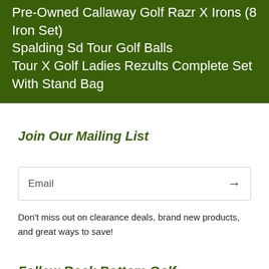Pre-Owned Callaway Golf Razr X Irons (8 Iron Set)
Spalding Sd Tour Golf Balls
Tour X Golf Ladies Rezults Complete Set With Stand Bag
Join Our Mailing List
Email
Don't miss out on clearance deals, brand new products, and great ways to save!
Follow Rock Bottom Golf